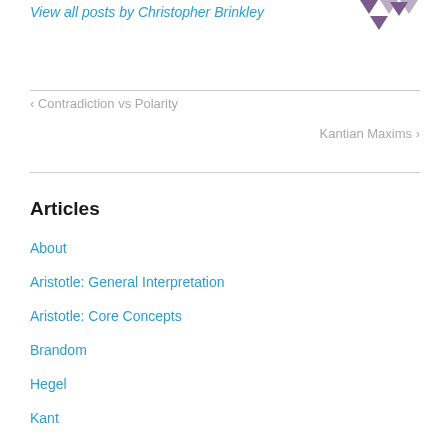View all posts by Christopher Brinkley
[Figure (logo): Purple geometric logo made of triangular/diamond shapes]
< Contradiction vs Polarity
Kantian Maxims >
Articles
About
Aristotle: General Interpretation
Aristotle: Core Concepts
Brandom
Hegel
Kant